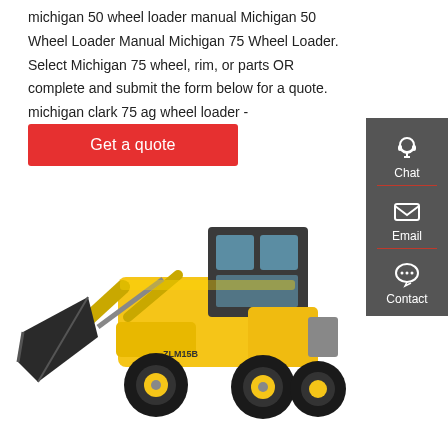michigan 50 wheel loader manual Michigan 50 Wheel Loader Manual Michigan 75 Wheel Loader. Select Michigan 75 wheel, rim, or parts OR complete and submit the form below for a quote. michigan clark 75 ag wheel loader - dragtimes.com
[Figure (other): Red 'Get a quote' button]
[Figure (other): Dark grey sidebar with Chat (headset icon), Email (envelope icon), and Contact (speech bubble icon) options separated by red dividers]
[Figure (photo): Yellow ZLM15B wheel loader (front-end loader) with black cab and large black bucket, on white background]